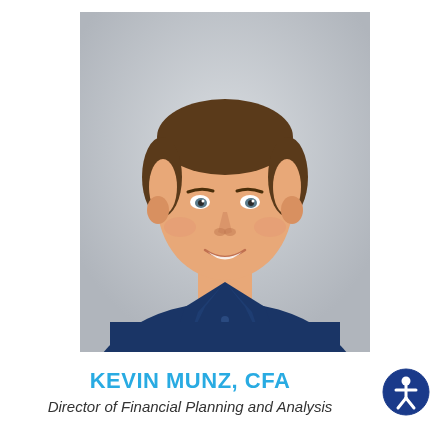[Figure (photo): Professional headshot of Kevin Munz, CFA. A young man with short brown hair, smiling, wearing a navy blue polo shirt, photographed against a light gray background.]
KEVIN MUNZ, CFA
Director of Financial Planning and Analysis
[Figure (logo): Accessibility icon: a circular dark blue badge with a white stylized human figure (wheelchair/person accessibility symbol) in the center.]